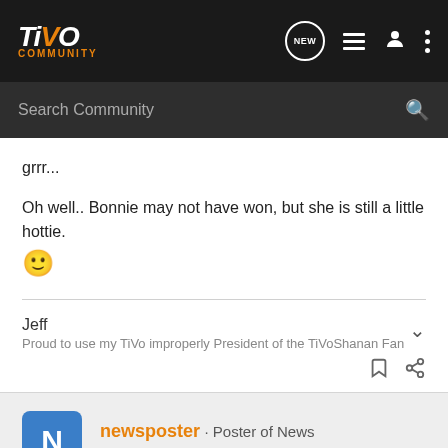TiVo Community
grrr...

Oh well.. Bonnie may not have won, but she is still a little hottie. 🙂
Jeff
Proud to use my TiVo improperly President of the TiVoShanan Fan
newsposter · Poster of News
Joined Aug 18, 2002 · 35,621 Posts